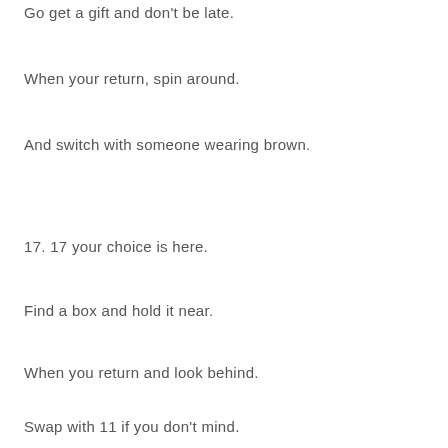Go get a gift and don't be late.
When your return, spin around.
And switch with someone wearing brown.
17. 17 your choice is here.
Find a box and hold it near.
When you return and look behind.
Swap with 11 if you don't mind.